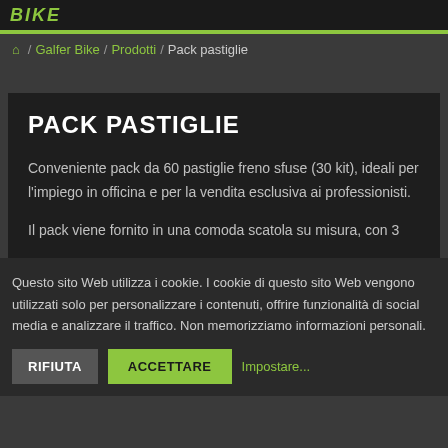BIKE
/ Galfer Bike / Prodotti / Pack pastiglie
PACK PASTIGLIE
Conveniente pack da 60 pastiglie freno sfuse (30 kit), ideali per l'impiego in officina e per la vendita esclusiva ai professionisti.
Il pack viene fornito in una comoda scatola su misura, con 3
Questo sito Web utilizza i cookie. I cookie di questo sito Web vengono utilizzati solo per personalizzare i contenuti, offrire funzionalità di social media e analizzare il traffico. Non memorizziamo informazioni personali.
RIFIUTA   ACCETTARE   Impostare...